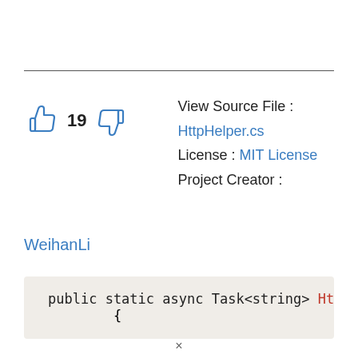[Figure (illustration): Thumbs up icon, count 19, and thumbs down icon]
View Source File : HttpHelper.cs
License : MIT License
Project Creator :
WeihanLi
public static async Task<string> Htt
    {